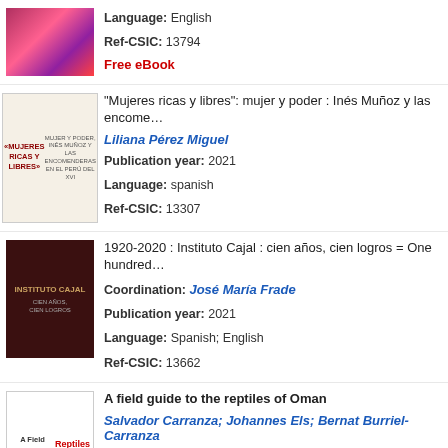Language: English | Ref-CSIC: 13794 | Free eBook
"Mujeres ricas y libres": mujer y poder : Inés Muñoz y las encome... | Liliana Pérez Miguel | Publication year: 2021 | Language: spanish | Ref-CSIC: 13307
1920-2020 : Instituto Cajal : cien años, cien logros = One hundred... | Coordination: José María Frade | Publication year: 2021 | Language: Spanish; English | Ref-CSIC: 13662
A field guide to the reptiles of Oman | Salvador Carranza; Johannes Els; Bernat Burriel-Carranza | Publication year: 2021 | Language: English | Ref-CSIC: